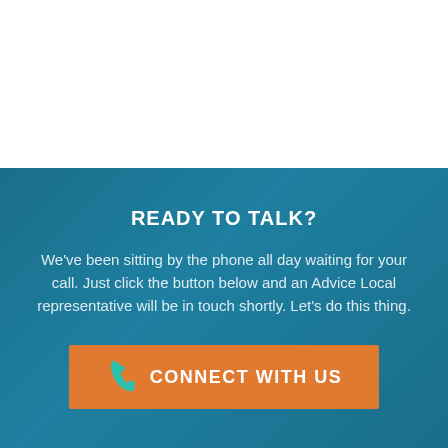READY TO TALK?
We've been sitting by the phone all day waiting for your call. Just click the button below and an Advice Local representative will be in touch shortly. Let's do this thing.
[Figure (other): Orange button with teal phone icon and white text reading CONNECT WITH US]